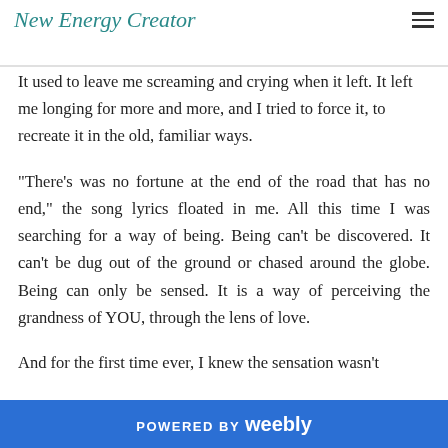New Energy Creator
It used to leave me screaming and crying when it left. It left me longing for more and more, and I tried to force it, to recreate it in the old, familiar ways.
"There's was no fortune at the end of the road that has no end," the song lyrics floated in me. All this time I was searching for a way of being. Being can't be discovered. It can't be dug out of the ground or chased around the globe. Being can only be sensed. It is a way of perceiving the grandness of YOU, through the lens of love.
And for the first time ever, I knew the sensation wasn't
POWERED BY weebly